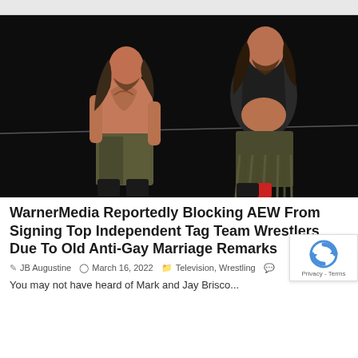[Figure (photo): Two professional wrestlers standing in a wrestling ring with dark background. The wrestler on the left is shirtless with tattoos and long hair, wearing camouflage shorts. The wrestler on the right is wearing a dark jacket and camouflage pants with fringe, also with a beard and long hair.]
WarnerMedia Reportedly Blocking AEW From Signing Top Independent Tag Team Wrestlers Due To Old Anti-Gay Marriage Remarks
JB Augustine   March 16, 2022   Television, Wrestling
You may not have heard of Mark and Jay Brisco...